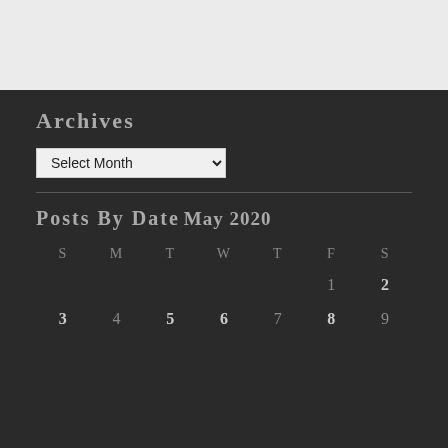Archives
Select Month
Posts by date
May 2020
| S | M | T | W | T | F | S |
| --- | --- | --- | --- | --- | --- | --- |
|  |  |  |  |  | 1 | 2 |
| 3 | 4 | 5 | 6 | 7 | 8 | 9 |